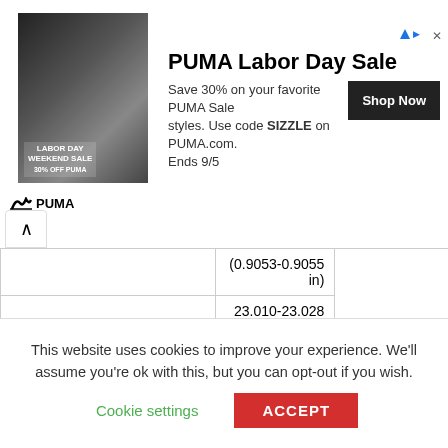[Figure (screenshot): PUMA Labor Day Weekend Sale advertisement banner with athlete image, text describing 30% off sale with code SIZZLE on PUMA.com, ends 9/5, Shop Now button, and PUMA logo.]
|  | (0.9053-0.9055 in) |
| Connecting rod small end ID | 23.010-23.028 mm
(0.9060-0.9066 in) |
| Cylinder Head |  |
| Distortion of cylinder head | 0.05 mm (0.002 in) |
| Valve Arrangement: | OHV |
| Valves: | 2 |
| Stem outer diameter (standard): | INTAKE | 6.575-6.590 mm
(0.2589-0.2594 in) |
|  | EXHAUST | 6.545-6.560 mm |
This website uses cookies to improve your experience. We'll assume you're ok with this, but you can opt-out if you wish.
Cookie settings
ACCEPT